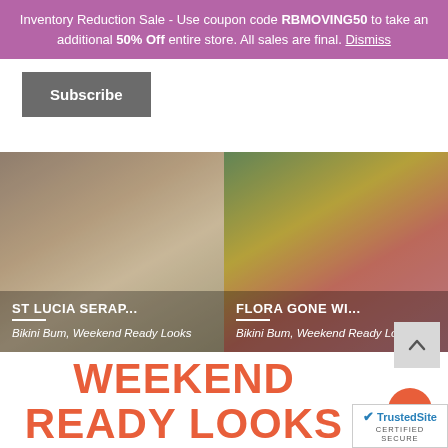Inventory Reduction Sale - Use coupon code RBMOVING50 to take an additional 50% Off entire store. All sales are final. Dismiss
Subscribe
[Figure (photo): Two swimwear product images side by side. Left: ST LUCIA SERAP... - Bikini Bum, Weekend Ready Looks. Right: FLORA GONE WI... - Bikini Bum, Weekend Ready Looks.]
WEEKEND READY LOOKS